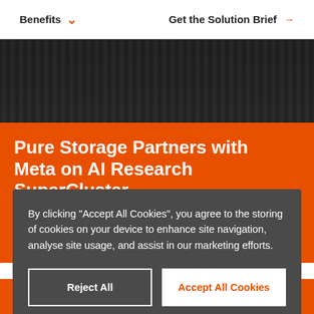Benefits   Get the Solution Brief →
[Figure (photo): Dark photo strip showing server racks in a data center corridor]
Pure Storage Partners with Meta on AI Research SuperCluster
FlashArray and FlashBlade provide a robust and scalable...
By clicking "Accept All Cookies", you agree to the storing of cookies on your device to enhance site navigation, analyse site usage, and assist in our marketing efforts.
Reject All
Accept All Cookies
Cookie Settings
CONTACT US ℹ